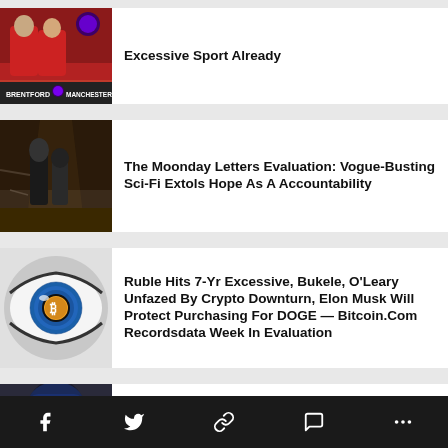[Figure (photo): Two football players in red jerseys, Premier League branding visible at bottom, scoreboard shows BRENTFORD vs MANCHESTER U]
Excessive Sport Already
[Figure (photo): Dark sci-fi scene with armored/robotic figures in a dramatic landscape]
The Moonday Letters Evaluation: Vogue-Busting Sci-Fi Extols Hope As A Accountability
[Figure (photo): Close-up of a human eye with a Bitcoin symbol reflected in the iris, black and white with blue eye color]
Ruble Hits 7-Yr Excessive, Bukele, O'Leary Unfazed By Crypto Downturn, Elon Musk Will Protect Purchasing For DOGE — Bitcoin.Com Recordsdata Week In Evaluation
[Figure (photo): Partial image of a person with dark blue hair]
Delhi Excessive Courtroom Permits